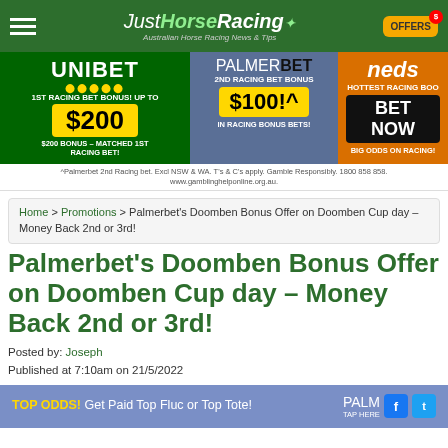JustHorseRacing – Australian Horse Racing News & Tips | OFFERS
[Figure (infographic): Betting promotions banner with Unibet (1st Racing Bet Bonus up to $200), Palmerbet (2nd Racing Bet Bonus $100!^), and Neds (Hottest Racing Boo – Bet Now, Big Odds on Racing)]
^Palmerbet 2nd Racing bet. Excl NSW & WA. T's & C's apply. Gamble Responsibly. 1800 858 858. www.gamblinghelponline.org.au.
Home > Promotions > Palmerbet's Doomben Bonus Offer on Doomben Cup day – Money Back 2nd or 3rd!
Palmerbet's Doomben Bonus Offer on Doomben Cup day – Money Back 2nd or 3rd!
Posted by: Joseph
Published at 7:10am on 21/5/2022
[Figure (infographic): Palmerbet promotional banner: TOP ODDS! Get Paid Top Fluc or Top Tote! with PALMERBET logo and social media icons (Facebook, Twitter)]